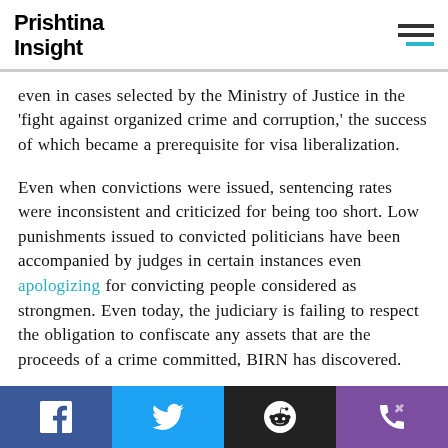Prishtina Insight
even in cases selected by the Ministry of Justice in the 'fight against organized crime and corruption,' the success of which became a prerequisite for visa liberalization.
Even when convictions were issued, sentencing rates were inconsistent and criticized for being too short. Low punishments issued to convicted politicians have been accompanied by judges in certain instances even apologizing for convicting people considered as strongmen. Even today, the judiciary is failing to respect the obligation to confiscate any assets that are the proceeds of a crime committed, BIRN has discovered.
Despite this state of affairs, numerous ministers of justice have still bragged about the successes of the